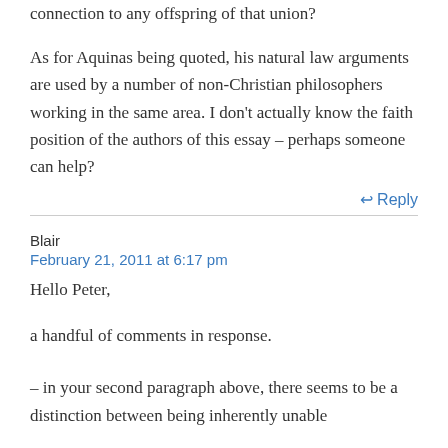connection to any offspring of that union?
As for Aquinas being quoted, his natural law arguments are used by a number of non-Christian philosophers working in the same area. I don't actually know the faith position of the authors of this essay – perhaps someone can help?
↩ Reply
Blair
February 21, 2011 at 6:17 pm
Hello Peter,
a handful of comments in response.
– in your second paragraph above, there seems to be a distinction between being inherently unable